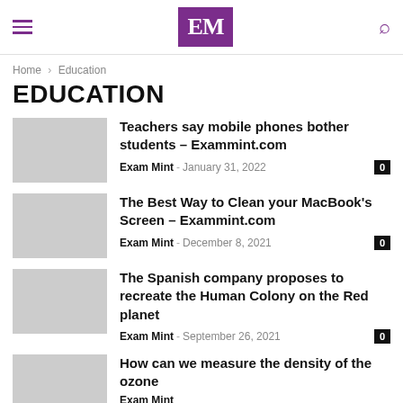EM — Exammint.com header with navigation
Home › Education
EDUCATION
Teachers say mobile phones bother students – Exammint.com
Exam Mint - January 31, 2022
0
The Best Way to Clean your MacBook's Screen – Exammint.com
Exam Mint - December 8, 2021
0
The Spanish company proposes to recreate the Human Colony on the Red planet
Exam Mint - September 26, 2021
0
How can we measure the density of the ozone
Exam Mint